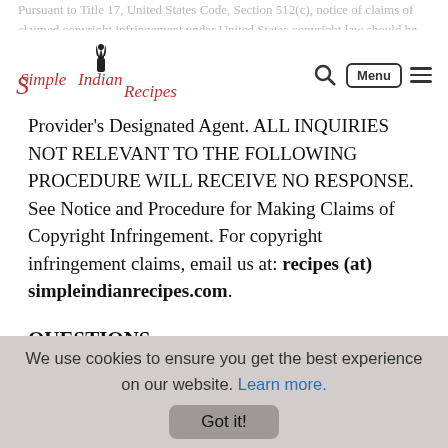Simple Indian Recipes — website header with logo, search, Menu button, and hamburger icon
Provider's Designated Agent. ALL INQUIRIES NOT RELEVANT TO THE FOLLOWING PROCEDURE WILL RECEIVE NO RESPONSE. See Notice and Procedure for Making Claims of Copyright Infringement. For copyright infringement claims, email us at: recipes (at) simpleindianrecipes.com.
QUESTIONS:
Questions regarding our Conditions of Usage, Privacy Policy, or other policy related material can be directed to
We use cookies to ensure you get the best experience on our website. Learn more. Got it!